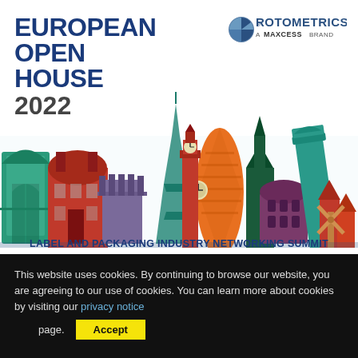[Figure (illustration): European Open House 2022 event banner with RotoMetrics logo (a Maxcess brand), colorful illustrated European city skyline (Eiffel Tower, Big Ben, Leaning Tower of Pisa, Colosseum, windmill, etc.), and text 'LABEL AND PACKAGING INDUSTRY NETWORKING SUMMIT']
RotoMetrics open house returns for 2022
This website uses cookies. By continuing to browse our website, you are agreeing to our use of cookies. You can learn more about cookies by visiting our privacy notice page. Accept